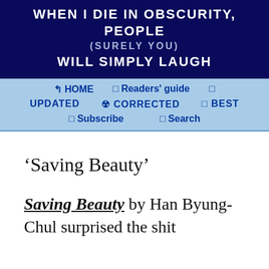WHEN I DIE IN OBSCURITY, PEOPLE (SURELY YOU) WILL SIMPLY LAUGH
HOME | Readers' guide | UPDATED | CORRECTED | BEST | Subscribe | Search
‘Saving Beauty’
Saving Beauty by Han Byung-Chul surprised the shit